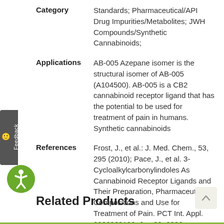Category: Standards; Pharmaceutical/API Drug Impurities/Metabolites; JWH Compounds/Synthetic Cannabinoids;
Applications: AB-005 Azepane isomer is the structural isomer of AB-005 (A104500). AB-005 is a CB2 cannabinoid receptor ligand that has the potential to be used for treatment of pain in humans. Synthetic cannabinoids
References: Frost, J., et al.: J. Med. Chem., 53, 295 (2010); Pace, J., et al. 3-Cycloalkylcarbonylindoles As Cannabinoid Receptor Ligands and Their Preparation, Pharmaceutical Compositions and Use for Treatment of Pain. PCT Int. Appl. 2006069196. Jun 29. 2006
Related Products